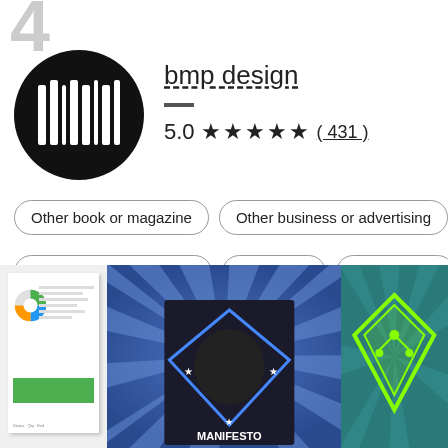[Figure (other): Large gray number 4 in background top-left corner]
[Figure (logo): Black circular logo with white vertical bars resembling a barcode, for bmp design]
bmp design
—
5.0 ★★★★★ ( 431 )
Other book or magazine
Other business or advertising
Other web or app design
Banner ad
Other design
[Figure (screenshot): Gallery thumbnail showing a report/document design with pie chart and green bar]
[Figure (photo): Book cover design: dark blue background with sunburst rays, fist logo, stars, and text MANIFESTO on the spine]
[Figure (illustration): Teal/green background with sunburst rays and a green diamond/tablet device with circuit board illustration]